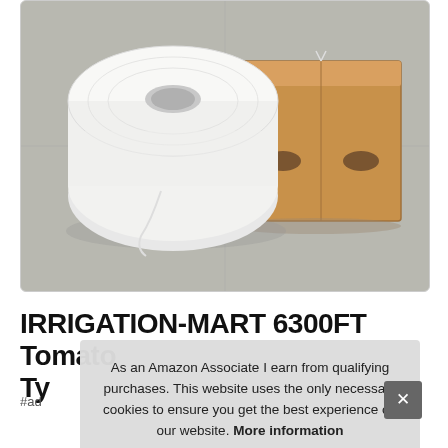[Figure (photo): A large white spool/roll of twine or string sitting on a gray floor next to a brown cardboard box with two oval hand-hold cutouts.]
IRRIGATION-MART 6300FT Tomato Ty
#ad
As an Amazon Associate I earn from qualifying purchases. This website uses the only necessary cookies to ensure you get the best experience on our website. More information